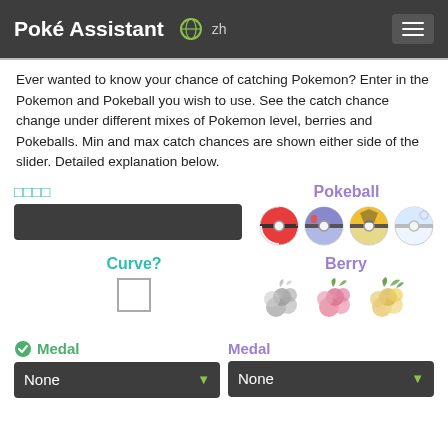Poké Assistant  🌐 zh  ☰
Ever wanted to know your chance of catching Pokemon? Enter in the Pokemon and Pokeball you wish to use. See the catch chance change under different mixes of Pokemon level, berries and Pokeballs. Min and max catch chances are shown either side of the slider. Detailed explanation below.
□□□□ (Pokemon input label)
Pokeball
Curve?
Berry
Medal
Medal